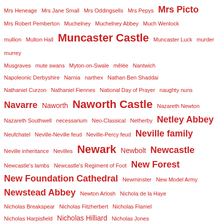Mrs Heneage Mrs Jane Small Mrs Oddingsells Mrs Pepys Mrs Picto Mrs Robert Pemberton Muchelney Muchelney Abbey Much Wenlock mullion Multon Hall Muncaster Castle Muncaster Luck murder murrey Musgraves mute swans Myton-on-Swale mêlée Nantwich Napoleonic Derbyshire Narnia narthex Nathan Ben Shaddai Nathaniel Curzon Nathaniel Fiennes National Day of Prayer naughty nuns Navarre Naworth Naworth Castle Nazareth Newton Nazareth Southwell necessarium Neo-Classical Netherby Netley Abbey Neufchatel Neville-Neville feud Neville-Percy feud Neville family Neville inheritance Nevilles Newark Newbolt Newcastle Newcastle's lambs Newcastle's Regiment of Foot New Forest New Foundation Cathedral Newminster New Model Army Newstead Abbey Newton Arlosh Nichola de la Haye Nicholas Breakspear Nicholas Fitzherbert Nicholas Flamel Nicholas Harpisfield Nicholas Hilliard Nicholas Jones Nicholas Kratzer Nicholas of the Tower Nicholas Owen Nicholas Pelham Nicholas Radford Nicholas Sander Nicholas Throckmorton night stairs Nine Ladies Stone Circle Ninian Home Ninian Staveley Ninth Baron Toncliffe